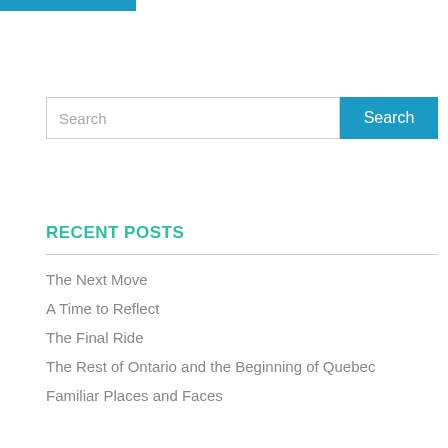[Figure (other): Blue header bar at top left]
Search
RECENT POSTS
The Next Move
A Time to Reflect
The Final Ride
The Rest of Ontario and the Beginning of Quebec
Familiar Places and Faces